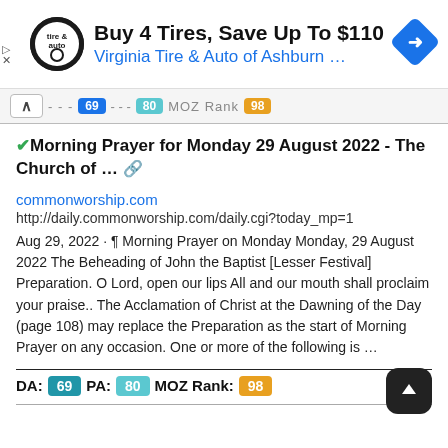[Figure (screenshot): Advertisement banner: Virginia Tire & Auto logo, 'Buy 4 Tires, Save Up To $110', 'Virginia Tire & Auto of Ashburn …', blue navigation arrow icon on right]
✔Morning Prayer for Monday 29 August 2022 - The Church of … 🔗
commonworship.com
http://daily.commonworship.com/daily.cgi?today_mp=1
Aug 29, 2022 · ¶ Morning Prayer on Monday Monday, 29 August 2022 The Beheading of John the Baptist [Lesser Festival] Preparation. O Lord, open our lips All and our mouth shall proclaim your praise.. The Acclamation of Christ at the Dawning of the Day (page 108) may replace the Preparation as the start of Morning Prayer on any occasion. One or more of the following is …
DA: 69 PA: 80 MOZ Rank: 98